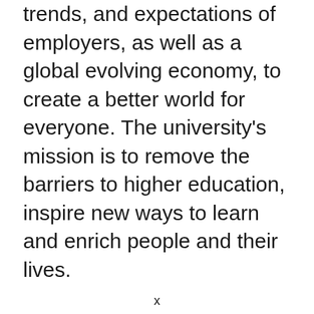trends, and expectations of employers, as well as a global evolving economy, to create a better world for everyone. The university's mission is to remove the barriers to higher education, inspire new ways to learn and enrich people and their lives.
x